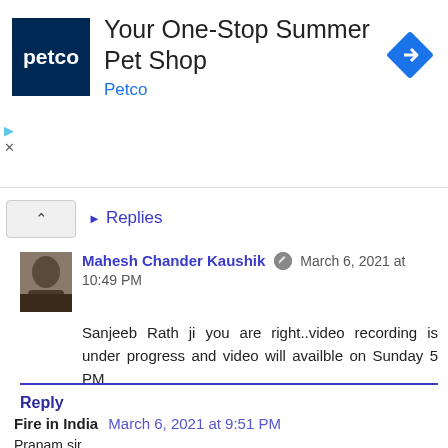[Figure (other): Petco advertisement banner with logo, text 'Your One-Stop Summer Pet Shop', 'Petco' subtitle in blue, and a blue diamond arrow icon]
Replies
Mahesh Chander Kaushik  March 6, 2021 at 10:49 PM
Sanjeeb Rath ji you are right..video recording is under progress and video will availble on Sunday 5 PM
Reply
Fire in India  March 6, 2021 at 9:51 PM
Pranam sir.
This seems to be an awesome upgradation to your strategy. When can we expect the video for this strategy?